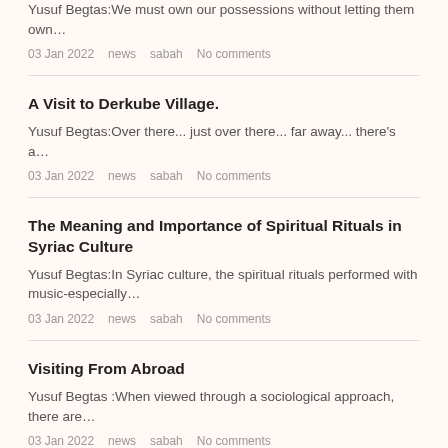Yusuf Begtas:We must own our possessions without letting them own…
03 Jan 2022   news   sabah   No comments
A Visit to Derkube Village.
Yusuf Begtas:Over there... just over there... far away... there's a…
03 Jan 2022   news   sabah   No comments
The Meaning and Importance of Spiritual Rituals in Syriac Culture
Yusuf Begtas:In Syriac culture, the spiritual rituals performed with music-especially…
03 Jan 2022   news   sabah   No comments
Visiting From Abroad
Yusuf Begtas :When viewed through a sociological approach, there are…
03 Jan 2022   news   sabah   No comments